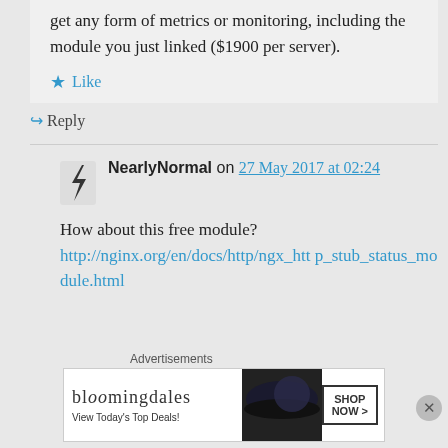get any form of metrics or monitoring, including the module you just linked ($1900 per server).
Like
Reply
NearlyNormal on 27 May 2017 at 02:24
How about this free module? http://nginx.org/en/docs/http/ngx_http_stub_status_module.html
Advertisements